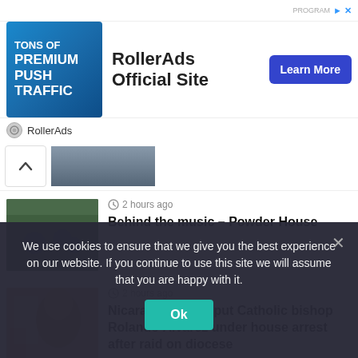[Figure (advertisement): RollerAds advertisement banner with blue background showing 'TONS OF PREMIUM PUSH TRAFFIC' text and a woman, with 'RollerAds Official Site' headline and 'Learn More' blue button]
[Figure (photo): Partially visible photo collapsed with an up-arrow button]
[Figure (photo): Photo of people sitting outdoors, associated with 'Behind the music - Powder House' article]
2 hours ago
Behind the music – Powder House
[Figure (photo): Photo of Catholic bishop Rolando Álvarez with a crucifix in the background]
2 hours ago
Nicaragua police put Catholic bishop Rolando Álvarez under house arrest after raid on diocese
[Figure (photo): Partial photo visible at the bottom of the news list, cut off by cookie banner]
3 hours ago
We use cookies to ensure that we give you the best experience on our website. If you continue to use this site we will assume that you are happy with it.